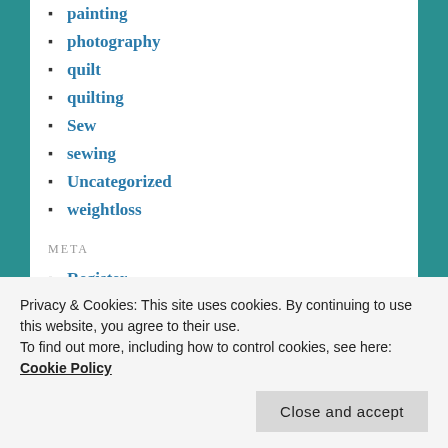painting
photography
quilt
quilting
Sew
sewing
Uncategorized
weightloss
META
Register
Log in
Entries feed
Comments feed
Privacy & Cookies: This site uses cookies. By continuing to use this website, you agree to their use.
To find out more, including how to control cookies, see here: Cookie Policy